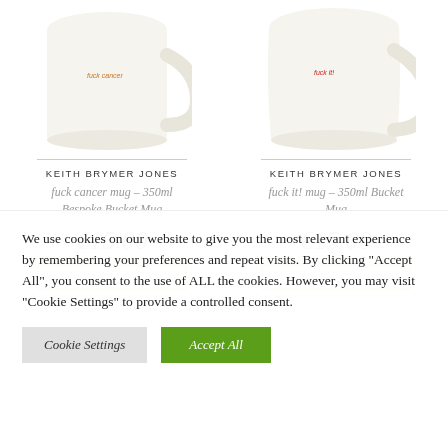[Figure (photo): White ceramic mug with small orange text 'fuck cancer' on it, partially cropped at top]
[Figure (photo): White ceramic bucket mug with small red text 'fuck it!' on it, partially cropped at top]
KEITH BRYMER JONES
fuck cancer mug – 350ml Bespoke Bucket Mug
€15.00
KEITH BRYMER JONES
fuck it! mug – 350ml Bucket Mug
€15.00
We use cookies on our website to give you the most relevant experience by remembering your preferences and repeat visits. By clicking "Accept All", you consent to the use of ALL the cookies. However, you may visit "Cookie Settings" to provide a controlled consent.